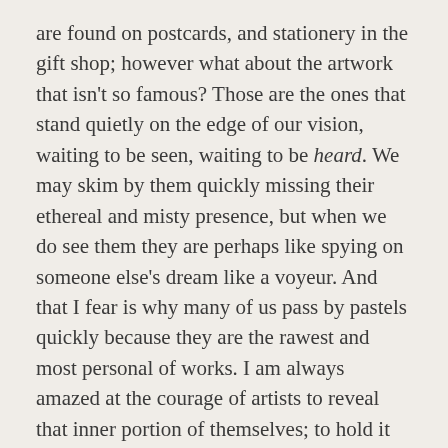are found on postcards, and stationery in the gift shop; however what about the artwork that isn't so famous? Those are the ones that stand quietly on the edge of our vision, waiting to be seen, waiting to be heard. We may skim by them quickly missing their ethereal and misty presence, but when we do see them they are perhaps like spying on someone else's dream like a voyeur. And that I fear is why many of us pass by pastels quickly because they are the rawest and most personal of works. I am always amazed at the courage of artists to reveal that inner portion of themselves; to hold it up for the world to see and judge.
If there be artists there will always be the critic and yet I wonder about our Stone Age ancestors and the motivation behind their cave art. There in the dark a dish of lit marrow fat to light their way they experimented with simple raw pigments to create the